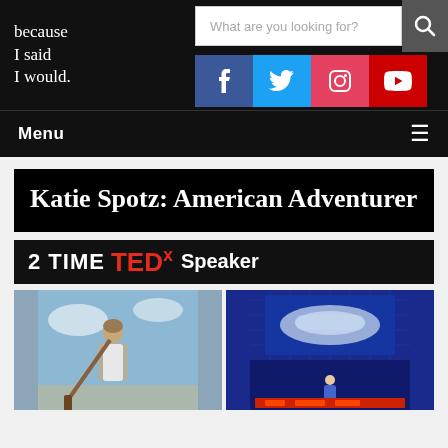because I said I would.
What are you looking for?
Katie Spotz: American Adventurer
2 TIME TEDx Speaker
[Figure (photo): Two photos side by side: left shows a woman holding an oar outdoors against a sky, right shows a woman on a TEDx stage with blue background lighting]